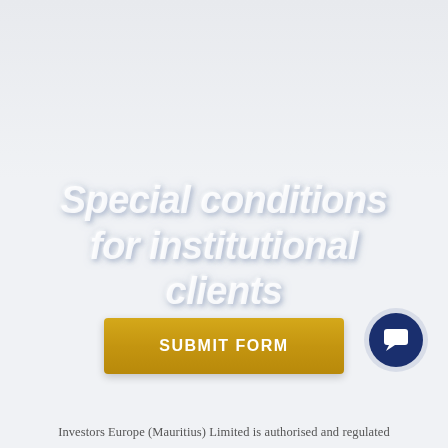Special conditions for institutional clients
[Figure (other): Gold/yellow rectangular button labeled SUBMIT FORM]
[Figure (other): Dark navy blue circular chat/message icon button with white speech bubble icon, surrounded by a light gray circular border]
Investors Europe (Mauritius) Limited is authorised and regulated